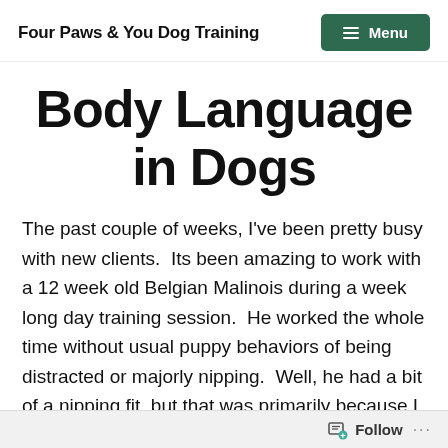Four Paws & You Dog Training  Menu
Body Language in Dogs
The past couple of weeks, I've been pretty busy with new clients.  Its been amazing to work with a 12 week old Belgian Malinois during a week long day training session.  He worked the whole time without usual puppy behaviors of being distracted or majorly nipping.  Well, he had a bit of a nipping fit, but that was primarily because I locked myself out of the client's
Follow ...